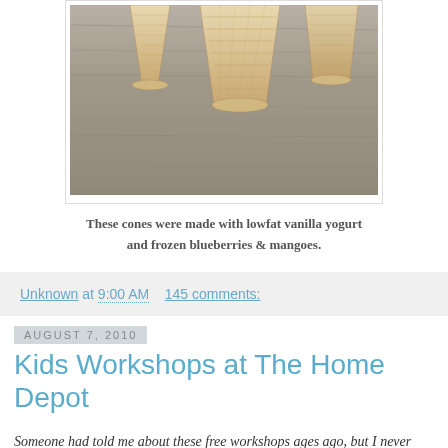[Figure (photo): Photo of ice cream cones (waffle cones) upside-down on a wooden surface, showing the bottom of the cones, with a light gray wooden plank background.]
These cones were made with lowfat vanilla yogurt and frozen blueberries & mangoes.
Unknown at 9:00 AM    145 comments:
August 7, 2010
Kids Workshops at The Home Depot
Someone had told me about these free workshops ages ago, but I never actually got around to going. After coming across the info